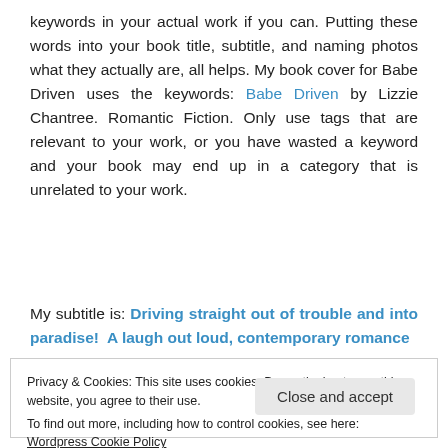keywords in your actual work if you can. Putting these words into your book title, subtitle, and naming photos what they actually are, all helps. My book cover for Babe Driven uses the keywords: Babe Driven by Lizzie Chantree. Romantic Fiction. Only use tags that are relevant to your work, or you have wasted a keyword and your book may end up in a category that is unrelated to your work.
My subtitle is: Driving straight out of trouble and into paradise!  A laugh out loud, contemporary romance
Privacy & Cookies: This site uses cookies. By continuing to use this website, you agree to their use.
To find out more, including how to control cookies, see here: Wordpress Cookie Policy